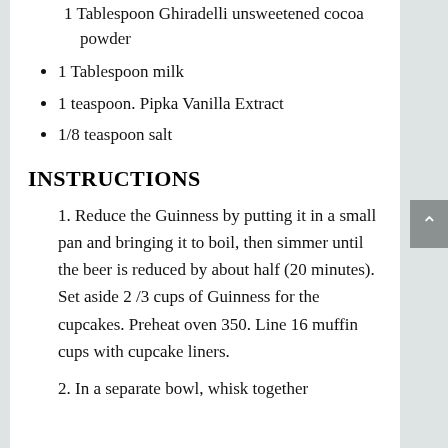1 Tablespoon Ghiradelli unsweetened cocoa powder
1 Tablespoon milk
1 teaspoon. Pipka Vanilla Extract
1/8 teaspoon salt
INSTRUCTIONS
1. Reduce the Guinness by putting it in a small pan and bringing it to boil, then simmer until the beer is reduced by about half (20 minutes). Set aside 2 /3 cups of Guinness for the cupcakes. Preheat oven 350. Line 16 muffin cups with cupcake liners.
2. In a separate bowl, whisk together